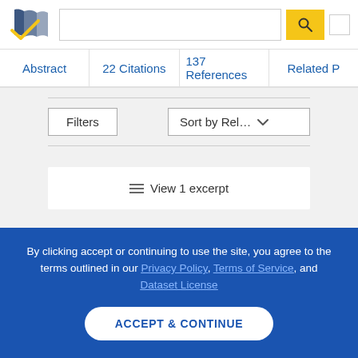[Figure (logo): Semantic Scholar logo — dark blue stylized open-book mark with gold checkmark]
Abstract | 22 Citations | 137 References | Related P…
Filters | Sort by Rel…
≡ View 1 excerpt
By clicking accept or continuing to use the site, you agree to the terms outlined in our Privacy Policy, Terms of Service, and Dataset License
ACCEPT & CONTINUE